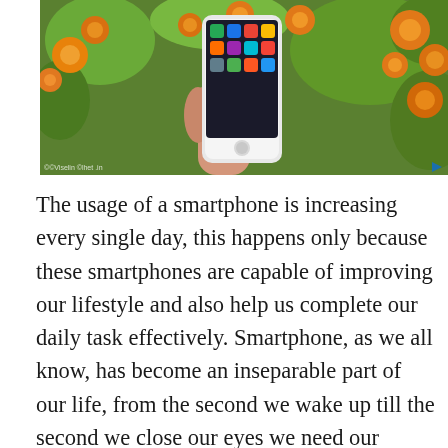[Figure (photo): A hand holding a white smartphone with colorful app icons on screen, with orange flowers and green foliage in the background.]
The usage of a smartphone is increasing every single day, this happens only because these smartphones are capable of improving our lifestyle and also help us complete our daily task effectively. Smartphone, as we all know, has become an inseparable part of our life, from the second we wake up till the second we close our eyes we need our smartphone in our hand. There are plenty of apps in the store, some of them are really helpful while some of them are not so useful. At the end of the day, all apps are made to provide